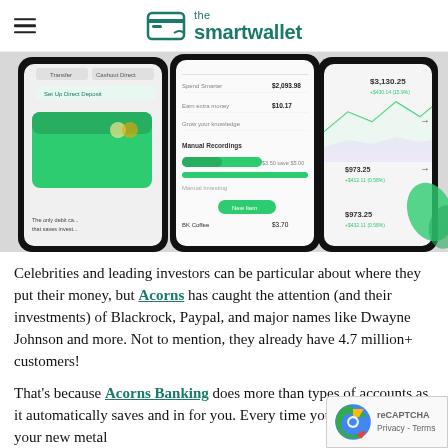the smartwallet
[Figure (screenshot): Three smartphone screens showing the Acorns banking app interface with green debit card, spending tracker showing $2,093.98, earn extra money $10.17, Grow your knowledge, Manual Recordings section, and investment account balances of $3,130.25 and $973.25]
Celebrities and leading investors can be particular about where they put their money, but Acorns has caught the attention (and their investments) of Blackrock, Paypal, and major names like Dwayne Johnson and more. Not to mention, they already have 4.7 million+ customers!
That's because Acorns Banking does more than types of accounts as it automatically saves and in for you. Every time you purchase on your new metal